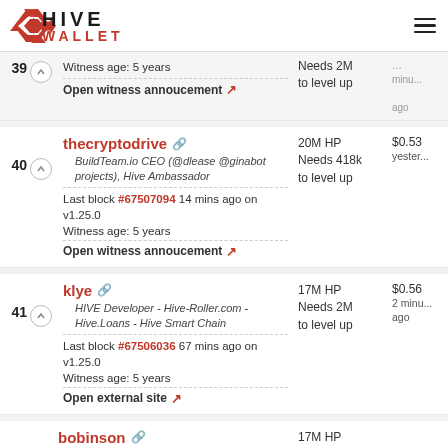HIVE WALLET
39 - Witness age: 5 years | Open witness annoucement | Needs 2M to level up | minutes ago
40 - thecryptodrive | BuildTeam.io CEO (@dlease @ginabot projects), Hive Ambassador | Last block #67507094 14 mins ago on v1.25.0 | Witness age: 5 years | Open witness annoucement | 20M HP Needs 418k to level up | $0.53 yesterday
41 - klye | HIVE Developer - Hive-Roller.com - Hive.Loans - Hive Smart Chain | Last block #67506036 67 mins ago on v1.25.0 | Witness age: 5 years | Open external site | 17M HP Needs 2M to level up | $0.56 2 minutes ago
bobinson | 17M HP